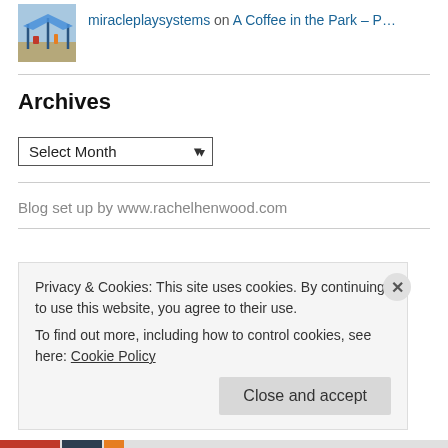[Figure (photo): Thumbnail image of a playground with blue shade structure]
miracleplaysystems on A Coffee in the Park – P…
Archives
Select Month (dropdown)
Blog set up by www.rachelhenwood.com
Privacy & Cookies: This site uses cookies. By continuing to use this website, you agree to their use.
To find out more, including how to control cookies, see here: Cookie Policy
Close and accept